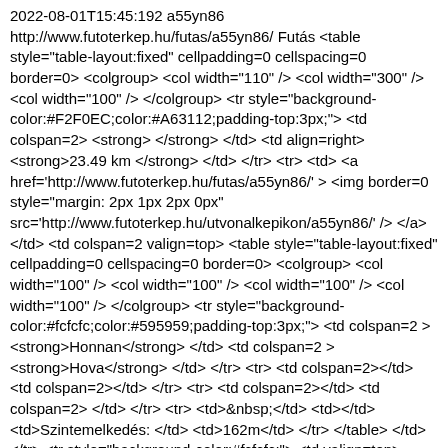2022-08-01T15:45:192 a55yn86 http://www.futoterkep.hu/futas/a55yn86/ Futás <table style="table-layout:fixed" cellpadding=0 cellspacing=0 border=0> <colgroup> <col width="110" /> <col width="300" /> <col width="100" /> </colgroup> <tr style="background-color:#F2F0EC;color:#A63112;padding-top:3px;"> <td colspan=2> <strong> </strong> </td> <td align=right> <strong>23.49 km </strong> </td> </tr> <tr> <td> <a href='http://www.futoterkep.hu/futas/a55yn86/' > <img border=0 style="margin: 2px 1px 2px 0px" src='http://www.futoterkep.hu/utvonalkepikon/a55yn86/' /> </a> </td> <td colspan=2 valign=top> <table style="table-layout:fixed" cellpadding=0 cellspacing=0 border=0> <colgroup> <col width="100" /> <col width="100" /> <col width="100" /> <col width="100" /> </colgroup> <tr style="background-color:#fcfcfc;color:#595959;padding-top:3px;"> <td colspan=2 > <strong>Honnan</strong> </td> <td colspan=2 > <strong>Hova</strong> </td> </tr> <tr> <td colspan=2></td> <td colspan=2></td> </tr> <tr> <td colspan=2></td> <td colspan=2> </td> </tr> <tr> <td>&nbsp;</td> <td></td> <td>Szintemelkedés: </td> <td>162m</td> </tr> </table> </td> </tr> <tr style="background-color:#fcfcfc;"> <td valign=top> <small>SenorMilla</small> </td> <td colspan=2 align=right> <small> </small> </td> </tr> <tr > <td colspan=3> </td> </tr> </table> Mon, 01 Aug 2022 15:32:07 Z 2022-08-01T15:32:07Z